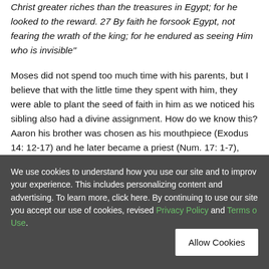Christ greater riches than the treasures in Egypt; for he looked to the reward. 27 By faith he forsook Egypt, not fearing the wrath of the king; for he endured as seeing Him who is invisible"
Moses did not spend too much time with his parents, but I believe that with the little time they spent with him, they were able to plant the seed of faith in him as we noticed his sibling also had a divine assignment. How do we know this? Aaron his brother was chosen as his mouthpiece (Exodus 14: 12-17) and he later became a priest (Num. 17: 1-7), likewise, Miriam became a prophetess (Exodus 15:20-21). Moses' outside the palace proved to him and
We use cookies to understand how you use our site and to improve your experience. This includes personalizing content and advertising. To learn more, click here. By continuing to use our site, you accept our use of cookies, revised Privacy Policy and Terms of Use.